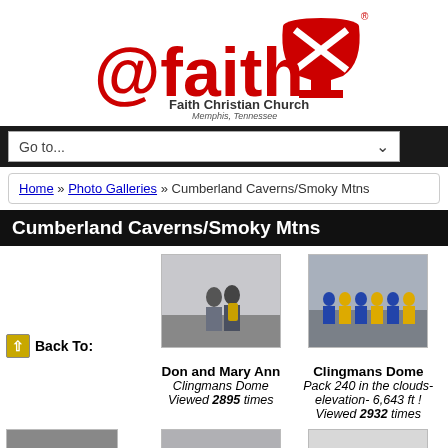[Figure (logo): @faith Faith Christian Church Memphis, Tennessee logo with red chalice icon]
Go to...
Home » Photo Galleries » Cumberland Caverns/Smoky Mtns
Cumberland Caverns/Smoky Mtns
[Figure (photo): Two people standing at Clingmans Dome in foggy conditions]
[Figure (photo): Group of people (Pack 240) at Clingmans Dome in the clouds]
Back To:
Don and Mary Ann
Clingmans Dome
Viewed 2895 times
Clingmans Dome
Pack 240 in the clouds- elevation- 6,643 ft !
Viewed 2932 times
[Figure (photo): Stream or nature scene at bottom left]
[Figure (photo): Mountain/valley scene at bottom center]
[Figure (photo): Another scene at bottom right]